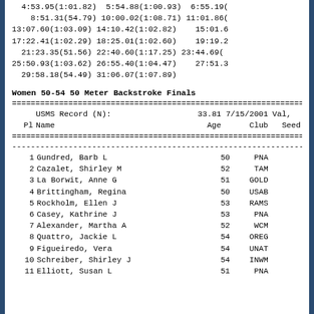4:53.95(1:01.82)  5:54.88(1:00.93)  6:55.19(
    8:51.31(54.79) 10:00.02(1:08.71) 11:01.86(
13:07.60(1:03.09) 14:10.42(1:02.82)    15:01.6
17:22.41(1:02.29) 18:25.01(1:02.60)    19:19.2
  21:23.35(51.56) 22:40.60(1:17.25) 23:44.69(
25:50.93(1:03.62) 26:55.40(1:04.47)    27:51.3
  29:58.18(54.49) 31:06.07(1:07.89)
Women 50-54 50 Meter Backstroke Finals
| Pl | Name | Age | Club | Seed |
| --- | --- | --- | --- | --- |
|  | USMS Record (N): | 33.81 | 7/15/2001 | Val, |
| Pl | Name | Age | Club | Seed |
| 1 | Gundred, Barb L | 50 | PNA |  |
| 2 | Cazalet, Shirley M | 52 | TAM |  |
| 3 | La Borwit, Anne G | 51 | GOLD |  |
| 4 | Brittingham, Regina | 50 | USAB |  |
| 5 | Rockholm, Ellen J | 53 | RAMS |  |
| 6 | Casey, Kathrine J | 53 | PNA |  |
| 7 | Alexander, Martha A | 52 | WCM |  |
| 8 | Quattro, Jackie L | 54 | OREG |  |
| 9 | Figueiredo, Vera | 54 | UNAT |  |
| 10 | Schreiber, Shirley J | 54 | INWM |  |
| 11 | Elliott, Susan L | 51 | PNA |  |